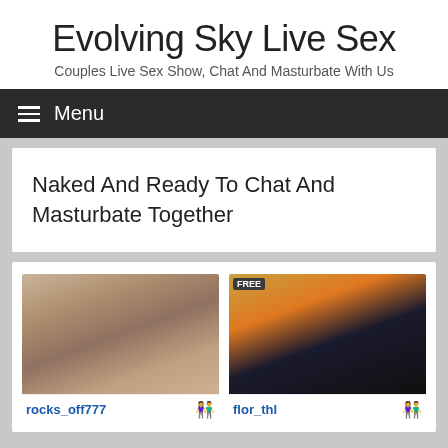Evolving Sky Live Sex
Couples Live Sex Show, Chat And Masturbate With Us
Menu
Naked And Ready To Chat And Masturbate Together
[Figure (photo): Live webcam thumbnail showing two people, username rocks_off777]
[Figure (photo): Live webcam thumbnail showing a person, username flor_thl]